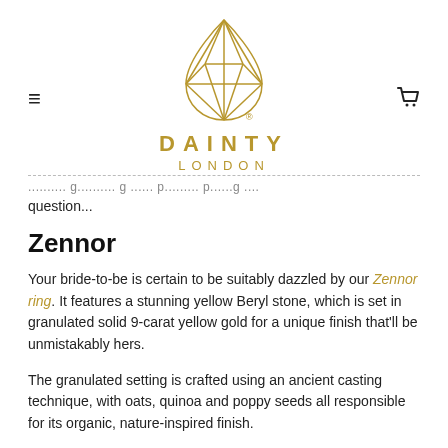[Figure (logo): Dainty London logo: a gold geometric teardrop/gem shape above the text DAINTY LONDON in gold letters]
question...
Zennor
Your bride-to-be is certain to be suitably dazzled by our Zennor ring. It features a stunning yellow Beryl stone, which is set in granulated solid 9-carat yellow gold for a unique finish that'll be unmistakably hers.
The granulated setting is crafted using an ancient casting technique, with oats, quinoa and poppy seeds all responsible for its organic, nature-inspired finish.